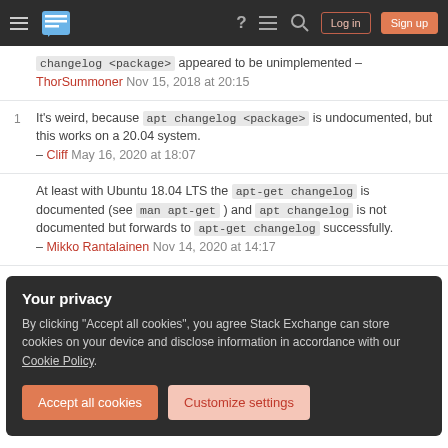Stack Exchange navigation bar with hamburger menu, logo, help, chat, search icons, Log in and Sign up buttons
changelog <package> appeared to be unimplemented – ThorSummoner Nov 15, 2018 at 20:15
1 It's weird, because apt changelog <package> is undocumented, but this works on a 20.04 system. – Cliff May 16, 2020 at 18:07
At least with Ubuntu 18.04 LTS the apt-get changelog is documented (see man apt-get ) and apt changelog is not documented but forwards to apt-get changelog successfully. – Mikko Rantalainen Nov 14, 2020 at 14:17
Your privacy
By clicking "Accept all cookies", you agree Stack Exchange can store cookies on your device and disclose information in accordance with our Cookie Policy.